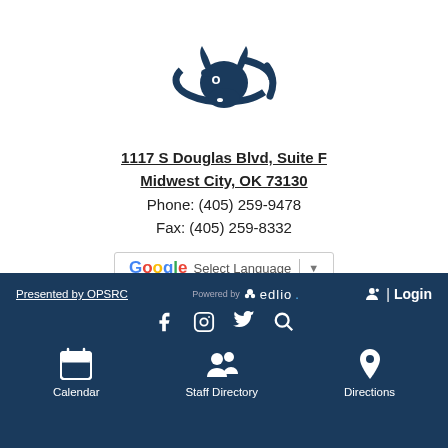[Figure (logo): Dark navy blue bison/buffalo head logo with circular swoosh element]
1117 S Douglas Blvd, Suite F
Midwest City, OK 73130
Phone: (405) 259-9478
Fax: (405) 259-8332
[Figure (other): Google Translate Select Language dropdown button]
Presented by OPSRC
[Figure (logo): Powered by edlio logo]
Login
[Figure (other): Social media icons: Facebook, Instagram, Twitter, Search]
Calendar
Staff Directory
Directions